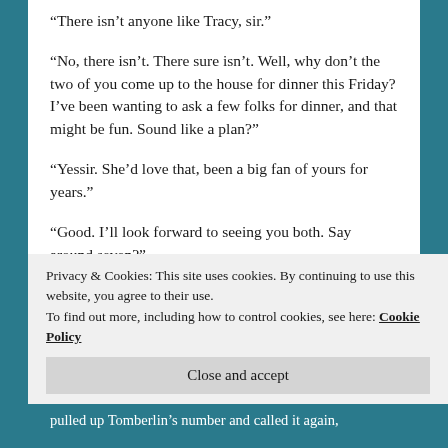“There isn’t anyone like Tracy, sir.”
“No, there isn’t. There sure isn’t. Well, why don’t the two of you come up to the house for dinner this Friday? I’ve been wanting to ask a few folks for dinner, and that might be fun. Sound like a plan?”
“Yessir. She’d love that, been a big fan of yours for years.”
“Good. I’ll look forward to seeing you both. Say around seven?”
“Yessir. Thank you sir.”
Privacy & Cookies: This site uses cookies. By continuing to use this website, you agree to their use.
To find out more, including how to control cookies, see here: Cookie Policy
Close and accept
pulled up Tomberlin’s number and called it again,